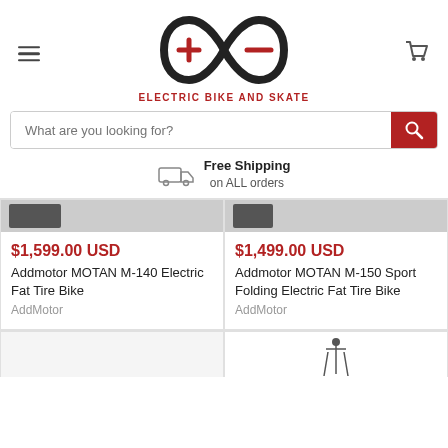[Figure (logo): Electric Bike and Skate logo — infinity symbol with plus and minus signs]
ELECTRIC BIKE AND SKATE
What are you looking for?
Free Shipping on ALL orders
$1,599.00 USD
Addmotor MOTAN M-140 Electric Fat Tire Bike
AddMotor
$1,499.00 USD
Addmotor MOTAN M-150 Sport Folding Electric Fat Tire Bike
AddMotor